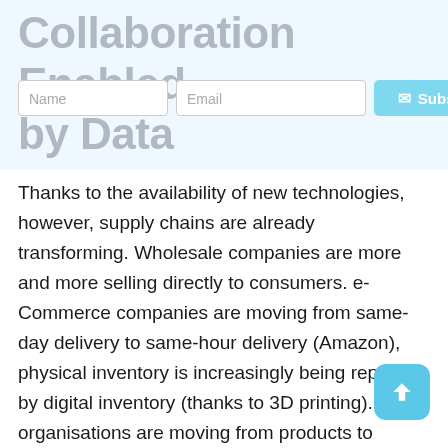Collaboration Enabled by Data
Thanks to the availability of new technologies, however, supply chains are already transforming. Wholesale companies are more and more selling directly to consumers. e-Commerce companies are moving from same-day delivery to same-hour delivery (Amazon), physical inventory is increasingly being replaced by digital inventory (thanks to 3D printing). And, organisations are moving from products to solutions (the example of Kaeser Compressors, who moved from selling air compressors to now selling Air-as-a-Service).
As it seems, the balances and roles are shifting in global supply chains, making them more complex than ever before. This requires new technologies to ensure the